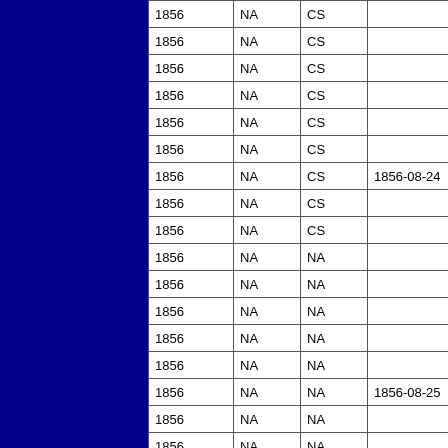| 1856 | NA | CS |  |
| 1856 | NA | CS |  |
| 1856 | NA | CS |  |
| 1856 | NA | CS |  |
| 1856 | NA | CS |  |
| 1856 | NA | CS |  |
| 1856 | NA | CS | 1856-08-24 |
| 1856 | NA | CS |  |
| 1856 | NA | CS |  |
| 1856 | NA | NA |  |
| 1856 | NA | NA |  |
| 1856 | NA | NA |  |
| 1856 | NA | NA |  |
| 1856 | NA | NA |  |
| 1856 | NA | NA | 1856-08-25 |
| 1856 | NA | NA |  |
| 1856 | NA | NA |  |
| 1856 | NA | NA |  |
| 1856 | NA | NA |  |
| 1856 | NA | NA |  |
| 1856 | NA | NA |  |